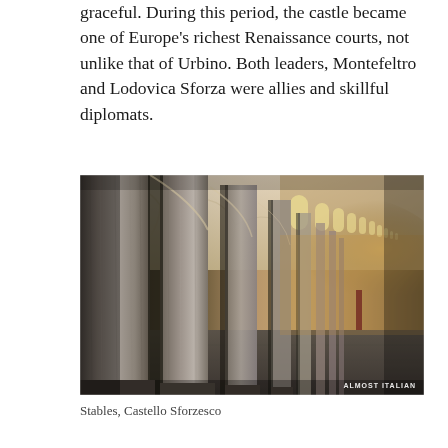graceful. During this period, the castle became one of Europe's richest Renaissance courts, not unlike that of Urbino. Both leaders, Montefeltro and Lodovica Sforza were allies and skillful diplomats.
[Figure (photo): Interior colonnade of Castello Sforzesco stables, showing tall stone columns with rough textured surfaces, vaulted arched ceilings in warm beige tones, and a long corridor receding into the distance with light from arched windows on the right. Watermark reads 'ALMOST ITALIAN' in bottom right corner.]
Stables, Castello Sforzesco